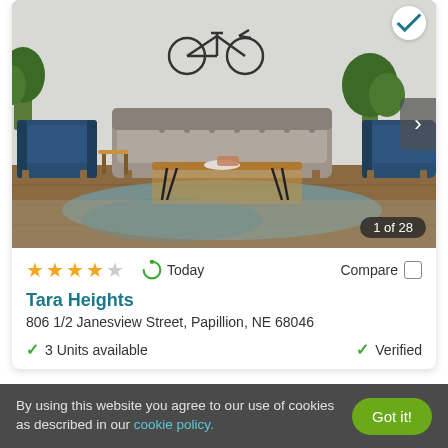[Figure (photo): Interior living room photo showing a gray mid-century modern sofa, two blue armchairs, a wooden coffee table, patterned rug, and a bicycle wall art decoration. Photo carousel showing 1 of 28 images.]
★★★★☆  Today  Compare
Tara Heights
806 1/2 Janesview Street, Papillion, NE 68046
✓ 3 Units available    ✓ Verified
By using this website you agree to our use of cookies as described in our cookie policy.